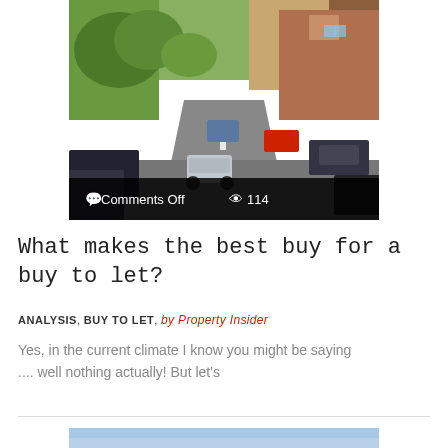[Figure (photo): Street scene showing a UK residential road with cars parked on both sides, houses with trees in the background, taken on a sunny day. Overlay bar at bottom shows 'Comments Off' and '114' views.]
What makes the best buy for a buy to let?
ANALYSIS, BUY TO LET, by Property Insider
Yes, in the current climate I know you might be saying .... well nothing actually! But let's
[Figure (photo): Partial photo visible at bottom of page, appears to show sky/outdoor scene.]